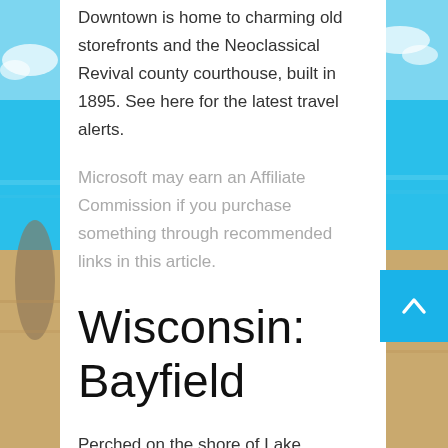[Figure (photo): Beach background photo showing turquoise ocean water, sandy beach, and blue sky with clouds on the left and right sides of the page.]
Downtown is home to charming old storefronts and the Neoclassical Revival county courthouse, built in 1895. See here for the latest travel alerts.
Microsoft may earn an Affiliate Commission if you purchase something through recommended links in this article.
Wisconsin: Bayfield
Perched on the shore of Lake Superior and surrounded by apple orchards, lavender and